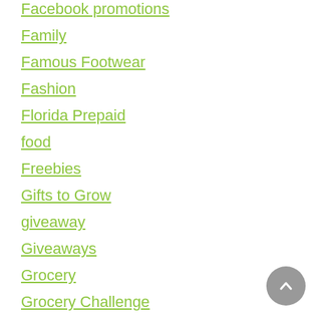Facebook promotions
Family
Famous Footwear
Fashion
Florida Prepaid
food
Freebies
Gifts to Grow
giveaway
Giveaways
Grocery
Grocery Challenge
Groupon
Holiday Gift Guide